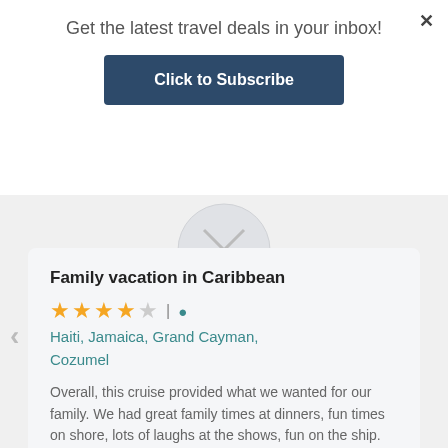Get the latest travel deals in your inbox!
Click to Subscribe
Family vacation in Caribbean
★★★★☆ | Haiti, Jamaica, Grand Cayman, Cozumel
Overall, this cruise provided what we wanted for our family. We had great family times at dinners, fun times on shore, lots of laughs at the shows, fun on the ship. The crew on this ship was great from stateroom attendants to dining room servers to cruise director to captain; all were great.